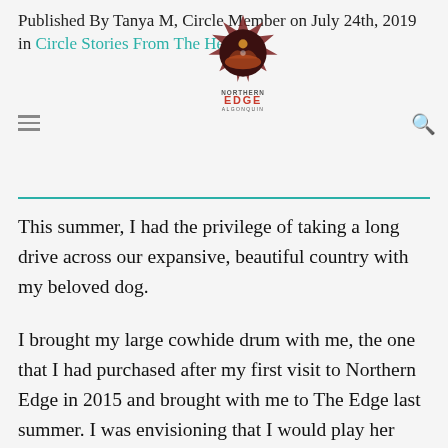Published By Tanya M, Circle Member on July 24th, 2019 in Circle Stories From The Heart
[Figure (logo): Northern Edge Algonquin logo — compass rose / star badge shape with dark red/maroon stylized landscape image inside, text 'NORTHERN' above 'EDGE' in large letters, 'ALGONQUIN' below in smaller letters]
This summer, I had the privilege of taking a long drive across our expansive, beautiful country with my beloved dog.
I brought my large cowhide drum with me, the one that I had purchased after my first visit to Northern Edge in 2015 and brought with me to The Edge last summer. I was envisioning that I would play her standing barefoot on Pacific coastal sand once we got to Vancouver Island.